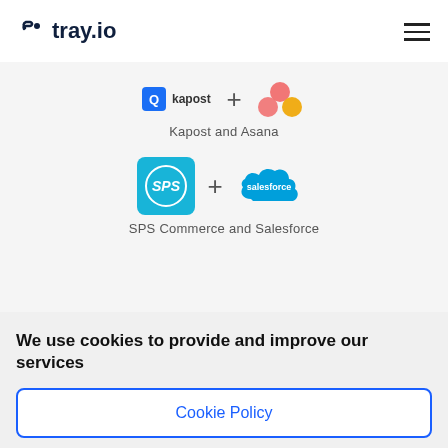[Figure (logo): tray.io logo in dark navy, with a chain/link icon to the left of the text]
[Figure (illustration): Kapost logo (blue square with Q-like icon and text 'kapost') plus sign and Asana logo (pink/orange/red circle cluster)]
Kapost and Asana
[Figure (illustration): SPS Commerce logo (cyan/teal square with SPS monogram) plus sign and Salesforce logo (blue cloud with 'salesforce' text)]
SPS Commerce and Salesforce
We use cookies to provide and improve our services
Cookie Policy
Accept & Close